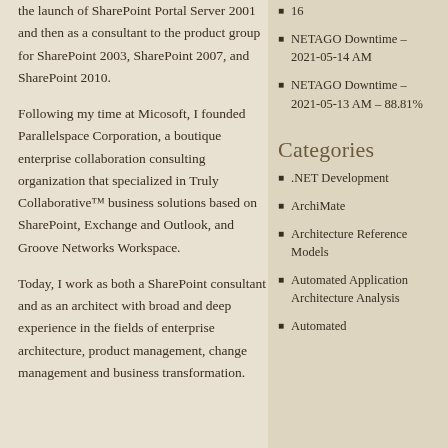the launch of SharePoint Portal Server 2001 and then as a consultant to the product group for SharePoint 2003, SharePoint 2007, and SharePoint 2010.
Following my time at Micosoft, I founded Parallelspace Corporation, a boutique enterprise collaboration consulting organization that specialized in Truly Collaborative™ business solutions based on SharePoint, Exchange and Outlook, and Groove Networks Workspace.
Today, I work as both a SharePoint consultant and as an architect with broad and deep experience in the fields of enterprise architecture, product management, change management and business transformation.
16
NETAGO Downtime – 2021-05-14 AM
NETAGO Downtime – 2021-05-13 AM – 88.81%
Categories
.NET Development
ArchiMate
Architecture Reference Models
Automated Application Architecture Analysis
Automated